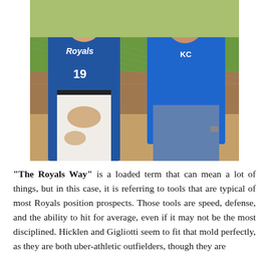[Figure (photo): Two men posing together outdoors at a baseball field. The man on the left is wearing a Kansas City Royals blue jersey with number 19 and white baseball pants stained with dirt. The man on the right is wearing a blue KC polo shirt and jeans with a watch on his wrist. A chain-link fence and green grass are visible in the background.]
“The Royals Way” is a loaded term that can mean a lot of things, but in this case, it is referring to tools that are typical of most Royals position prospects. Those tools are speed, defense, and the ability to hit for average, even if it may not be the most disciplined. Hicklen and Gigliotti seem to fit that mold perfectly, as they are both uber-athletic outfielders, though they are